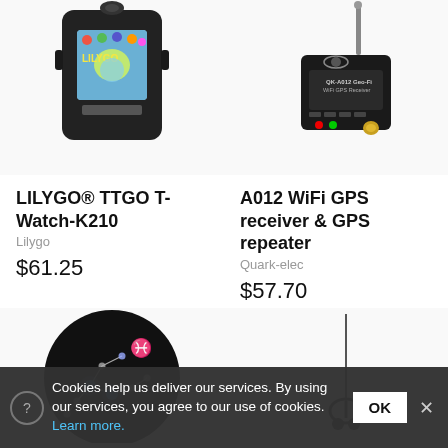[Figure (photo): LILYGO TTGO T-Watch-K210 smartwatch product photo showing the device with a colorful display screen]
LILYGO® TTGO T-Watch-K210
Lilygo
$61.25
[Figure (photo): A012 WiFi GPS receiver and GPS repeater product photo, small black device with antenna and LED indicators]
A012 WiFi GPS receiver & GPS repeater
Quark-elec
$57.70
[Figure (photo): Round black disc showing Pisces constellation pattern with glowing blue star markers]
[Figure (photo): Magnetic antenna on a cable, partially visible]
Cookies help us deliver our services. By using our services, you agree to our use of cookies. Learn more.